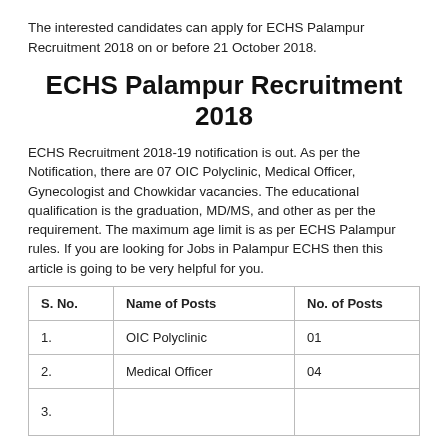The interested candidates can apply for ECHS Palampur Recruitment 2018 on or before 21 October 2018.
ECHS Palampur Recruitment 2018
ECHS Recruitment 2018-19 notification is out. As per the Notification, there are 07 OIC Polyclinic, Medical Officer, Gynecologist and Chowkidar vacancies. The educational qualification is the graduation, MD/MS, and other as per the requirement. The maximum age limit is as per ECHS Palampur rules. If you are looking for Jobs in Palampur ECHS then this article is going to be very helpful for you.
| S. No. | Name of Posts | No. of Posts |
| --- | --- | --- |
| 1. | OIC Polyclinic | 01 |
| 2. | Medical Officer | 04 |
| 3. |  |  |